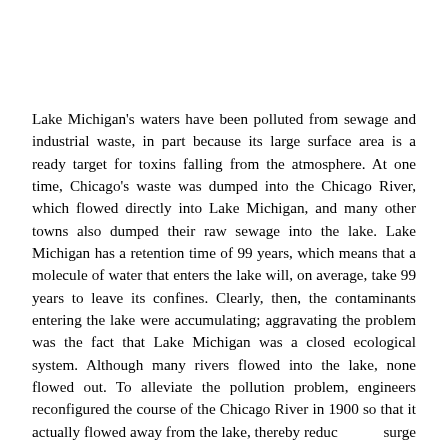Lake Michigan's waters have been polluted from sewage and industrial waste, in part because its large surface area is a ready target for toxins falling from the atmosphere. At one time, Chicago's waste was dumped into the Chicago River, which flowed directly into Lake Michigan, and many other towns also dumped their raw sewage into the lake. Lake Michigan has a retention time of 99 years, which means that a molecule of water that enters the lake will, on average, take 99 years to leave its confines. Clearly, then, the contaminants entering the lake were accumulating; aggravating the problem was the fact that Lake Michigan was a closed ecological system. Although many rivers flowed into the lake, none flowed out. To alleviate the pollution problem, engineers reconfigured the course of the Chicago River in 1900 so that it actually flowed away from the lake, thereby reducing the surge of sewage and chemical waste into Lake Michigan. Stricter environmental laws have also reduced the discharge of industrial pollutants